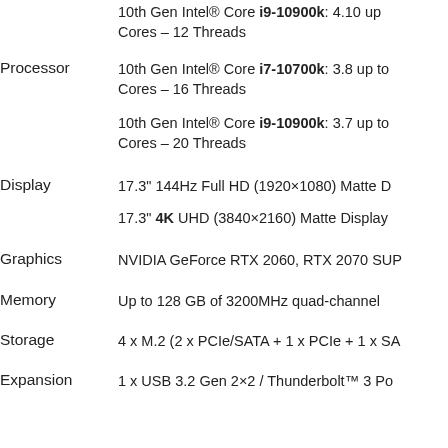| Specification | Details |
| --- | --- |
| Processor | 10th Gen Intel® Core i9-10900k: 4.10 up... Cores – 12 Threads
10th Gen Intel® Core i7-10700k: 3.8 up to... Cores – 16 Threads
10th Gen Intel® Core i9-10900k: 3.7 up to... Cores – 20 Threads |
| Display | 17.3" 144Hz Full HD (1920×1080) Matte D...
17.3" 4K UHD (3840×2160) Matte Display |
| Graphics | NVIDIA GeForce RTX 2060, RTX 2070 SUP... |
| Memory | Up to 128 GB of 3200MHz quad-channel... |
| Storage | 4 x M.2 (2 x PCIe/SATA + 1 x PCIe + 1 x SA... |
| Expansion | 1 x USB 3.2 Gen 2×2 / Thunderbolt™ 3 Po... |